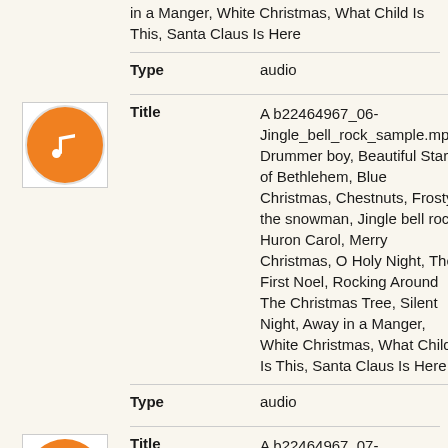in a Manger, White Christmas, What Child Is This, Santa Claus Is Here
| Field | Value |
| --- | --- |
| Type | audio |
[Figure (illustration): Orange circle music note icon for second audio record]
| Field | Value |
| --- | --- |
| Title | A b22464967_06-Jingle_bell_rock_sample.mp3, Drummer boy, Beautiful Star of Bethlehem, Blue Christmas, Chestnuts, Frosty the snowman, Jingle bell rock, Huron Carol, Merry Christmas, O Holy Night, The First Noel, Rocking Around The Christmas Tree, Silent Night, Away in a Manger, White Christmas, What Child Is This, Santa Claus Is Here |
| Type | audio |
[Figure (illustration): Orange circle music note icon for third audio record (partially visible)]
| Field | Value |
| --- | --- |
| Title | A b22464967_07-Huron_Carol_sample.mp3 |